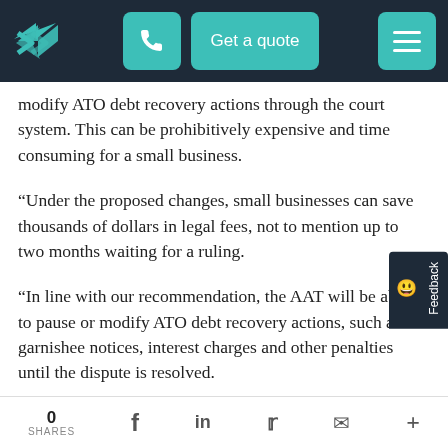Get a quote
modify ATO debt recovery actions through the court system. This can be prohibitively expensive and time consuming for a small business.
“Under the proposed changes, small businesses can save thousands of dollars in legal fees, not to mention up to two months waiting for a ruling.
“In line with our recommendation, the AAT will be able to pause or modify ATO debt recovery actions, such as garnishee notices, interest charges and other penalties until the dispute is resolved.
“It means that rather than spending time and money fighting in court, small businesses can get on with
0 SHARES